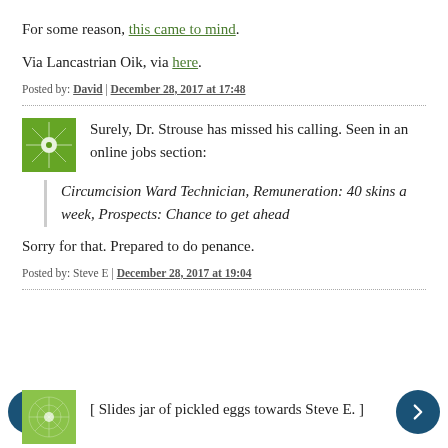For some reason, this came to mind.
Via Lancastrian Oik, via here.
Posted by: David | December 28, 2017 at 17:48
Surely, Dr. Strouse has missed his calling. Seen in an online jobs section:
Circumcision Ward Technician, Remuneration: 40 skins a week, Prospects: Chance to get ahead
Sorry for that. Prepared to do penance.
Posted by: Steve E | December 28, 2017 at 19:04
[ Slides jar of pickled eggs towards Steve E. ]